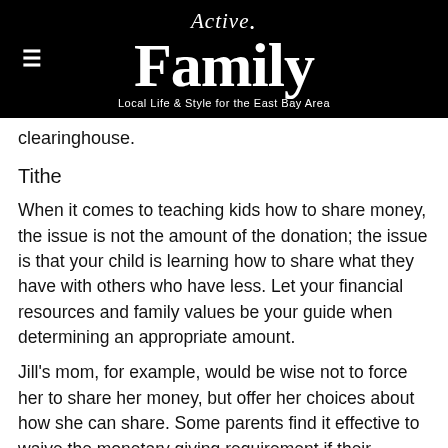[Figure (logo): Active Family logo with hamburger menu icon on black background. Logo reads 'Active.' above 'Family' in large bold serif font, with tagline 'Local Life & Style for the East Bay Area']
clearinghouse.
Tithe
When it comes to teaching kids how to share money, the issue is not the amount of the donation; the issue is that your child is learning how to share what they have with others who have less. Let your financial resources and family values be your guide when determining an appropriate amount.
Jill's mom, for example, would be wise not to force her to share her money, but offer her choices about how she can share. Some parents find it effective to waive the monetary giving requirement if their children are volunteering in other ways that involve their time, or their toys. For example, if you child resists making a $5 donation, then he or she can be offered the choice